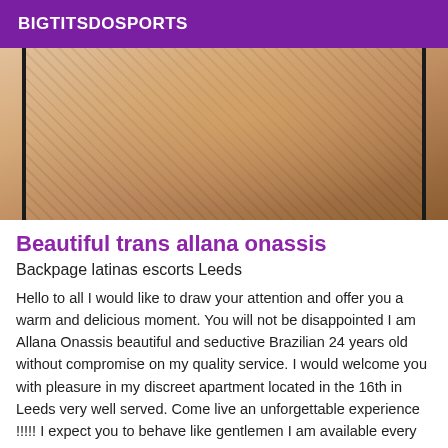BIGTITSDOSPORTS
[Figure (photo): Cropped photo of a person's torso wearing a dark fishnet bodysuit, hands on hips, against a light background]
Beautiful trans allana onassis
Backpage latinas escorts Leeds
Hello to all I would like to draw your attention and offer you a warm and delicious moment. You will not be disappointed I am Allana Onassis beautiful and seductive Brazilian 24 years old without compromise on my quality service. I would welcome you with pleasure in my discreet apartment located in the 16th in Leeds very well served. Come live an unforgettable experience !!!!! I expect you to behave like gentlemen I am available every day 24 hours a day on unmasked numbers. it's me